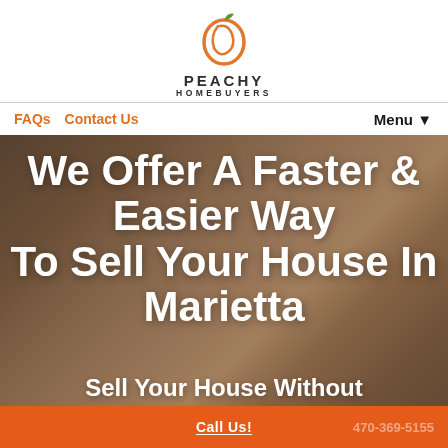[Figure (logo): Peachy Homebuyers logo: orange peach outline icon above the text PEACHY HOMEBUYERS]
FAQs   Contact Us   Menu ▼
We Offer A Faster & Easier Way To Sell Your House In Marietta
Sell Your House Without Fees, As-Is, Cash
Call Us!